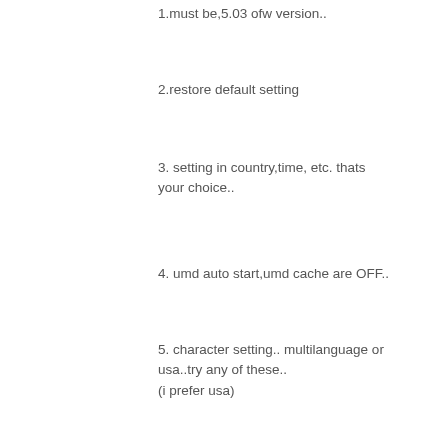1.must be,5.03 ofw version..
2.restore default setting
3. setting in country,time, etc. thats your choice..
4. umd auto start,umd cache are OFF..
5. character setting.. multilanguage or usa..try any of these..
(i prefer usa)
THEN GO, TO YOUR PHOTO..DO THE MAGIC “MANOK”, I MEAN CHICKHEN R2..
GLAD TO HELP..
nicki
XMB means